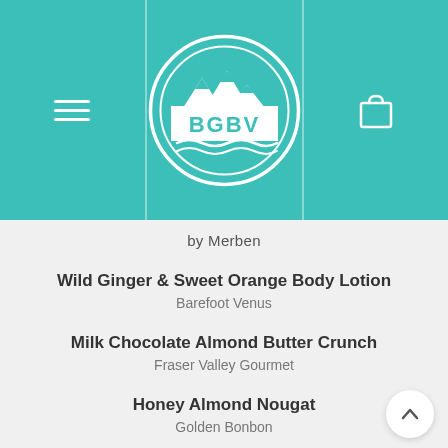[Figure (logo): BGBV logo in white circle with mountain and wave motifs on teal background header with hamburger menu on left and shopping bag icon on right]
by Merben
Wild Ginger & Sweet Orange Body Lotion
Barefoot Venus
Milk Chocolate Almond Butter Crunch
Fraser Valley Gourmet
Honey Almond Nougat
Golden Bonbon